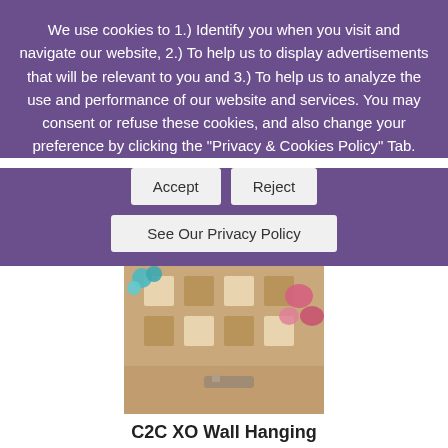We use cookies to 1.) Identify you when you visit and navigate our website, 2.) To help us to display advertisements that will be relevant to you and 3.) To help us to analyze the use and performance of our website and services. You may consent or refuse these cookies, and also change your preference by clicking the "Privacy & Cookies Policy" Tab.
[Figure (screenshot): Cookie consent banner with Accept and Reject buttons, and a See Our Privacy Policy button]
[Figure (photo): Photo of a C2C XO Wall Hanging crochet project with teal and pink flowers beside it]
C2C XO Wall Hanging
This is the perfect wall decor project for Valentine's Day. It'll look great in any room and also makes for a nice gift idea!